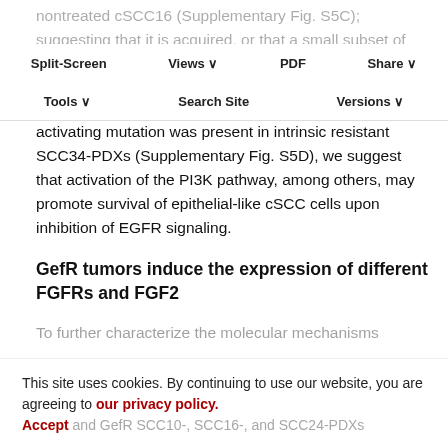nontreated cSCC16 (Supplementary Fig. S5C); suggesting that it is acquired, or that a small subset of SCC16 cells carrying the E545K PIK3CA mutation may be selected by therapy pressure. As a similar PIK3CA-
Split-Screen   Views   PDF   Share
Tools   Search Site   Versions
activating mutation was present in intrinsic resistant SCC34-PDXs (Supplementary Fig. S5D), we suggest that activation of the PI3K pathway, among others, may promote survival of epithelial-like cSCC cells upon inhibition of EGFR signaling.
GefR tumors induce the expression of different FGFRs and FGF2
To further characterize the molecular mechanisms
This site uses cookies. By continuing to use our website, you are agreeing to our privacy policy. Accept
and GefR SCC10-, SCC16-, and SCC24-PDXs